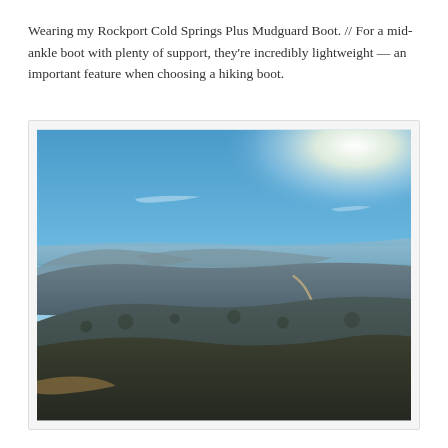Wearing my Rockport Cold Springs Plus Mudguard Boot. // For a mid-ankle boot with plenty of support, they're incredibly lightweight — an important feature when choosing a hiking boot.
[Figure (photo): Aerial landscape view of rolling hills and mountains with winding roads and ocean/water visible in the background under a bright blue sky with the sun shining in the upper right corner.]